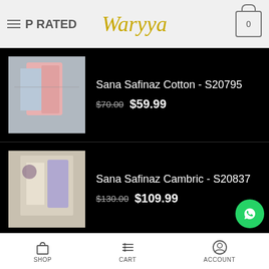TOP RATED — Waryya — Cart (0)
Sana Safinaz Cotton - S20795 | $70.00 $59.99
Sana Safinaz Cambric - S20837 | $130.00 $109.99
Khaadi Dyed - S21517 | $180.00 $154.99
ABOUT US
SHOP | CART | ACCOUNT